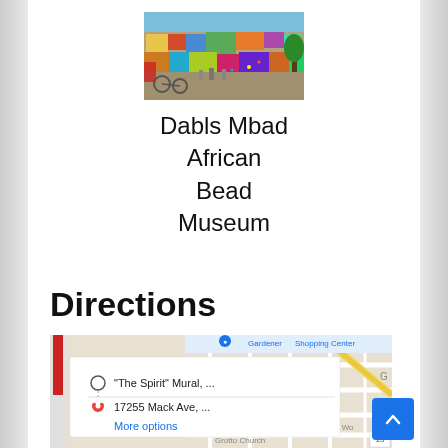[Figure (photo): Photo of colorful mural/street art on a building exterior, Dabls Mbad African Bead Museum]
Dabls Mbad African Bead Museum
Directions
[Figure (screenshot): Google Maps screenshot showing directions from 'The Spirit' Mural to 17255 Mack Ave, with a popup showing origin and destination, a 'More options' link, and map tiles with street grid, Gardner Shopping Center, Harper Wo(ods), Grotto Church labels, and a red route marker.]